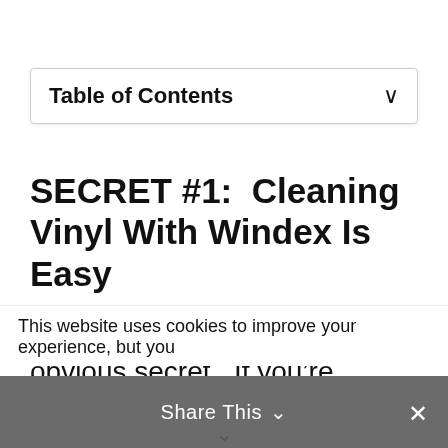Table of Contents
SECRET #1:  Cleaning Vinyl With Windex Is Easy
Let’s begin with the most obvious secret.  If you’re looking for an easy way to clean you vinyl records—well,
This website uses cookies to improve your experience, but you
Share This ⌃